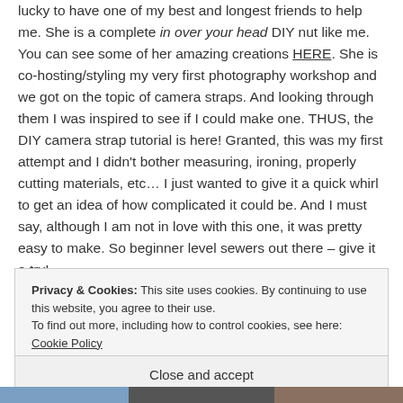lucky to have one of my best and longest friends to help me. She is a complete in over your head DIY nut like me. You can see some of her amazing creations HERE. She is co-hosting/styling my very first photography workshop and we got on the topic of camera straps. And looking through them I was inspired to see if I could make one. THUS, the DIY camera strap tutorial is here! Granted, this was my first attempt and I didn't bother measuring, ironing, properly cutting materials, etc... I just wanted to give it a quick whirl to get an idea of how complicated it could be. And I must say, although I am not in love with this one, it was pretty easy to make. So beginner level sewers out there – give it a try!
Privacy & Cookies: This site uses cookies. By continuing to use this website, you agree to their use.
To find out more, including how to control cookies, see here: Cookie Policy
Close and accept